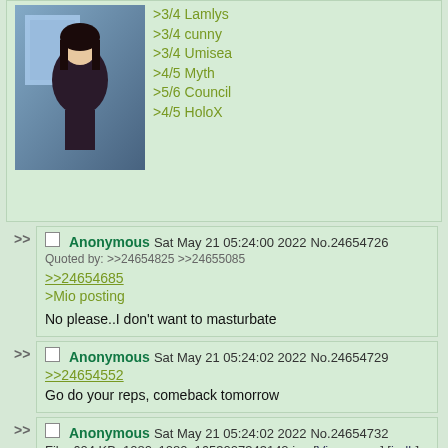[Figure (illustration): Anime character illustration in dark clothing]
>3/4 Lamlys
>3/4 cunny
>3/4 Umisea
>4/5 Myth
>5/6 Council
>4/5 HoloX
Anonymous Sat May 21 05:24:00 2022 No.24654726
Quoted by: >>24654825 >>24655085
>>24654685
>Mio posting
No please..I don't want to masturbate
Anonymous Sat May 21 05:24:02 2022 No.24654729
>>24654552
Go do your reps, comeback tomorrow
Anonymous Sat May 21 05:24:02 2022 No.24654732
File: 604 KB, 1080x1080, 1653007343142.jpg [View same] [iqdb] [saucenao] [google]
Good morning, I love Mumei and Fauna!
[Figure (illustration): Anime character illustration, partial view at bottom of page]